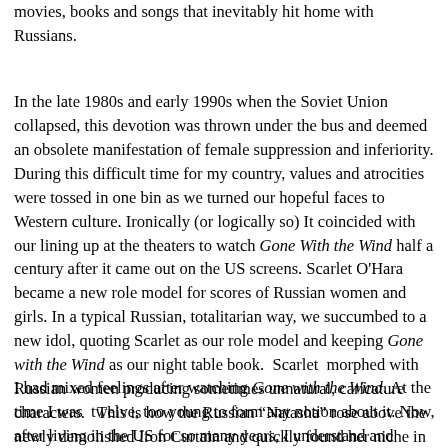movies, books and songs that inevitably hit home with Russians.
In the late 1980s and early 1990s when the Soviet Union collapsed, this devotion was thrown under the bus and deemed an obsolete manifestation of female suppression and inferiority. During this difficult time for my country, values and atrocities were tossed in one bin as we turned our hopeful faces to Western culture. Ironically (or logically so) It coincided with our lining up at the theaters to watch Gone With the Wind half a century after it came out on the US screens. Scarlet O'Hara became a new role model for scores of Russian women and girls. In a typical Russian, totalitarian way, we succumbed to a new idol, quoting Scarlet as our role model and keeping Gone with the Wind as our night table book. Scarlet morphed with Russian women producing sometimes unnatural, caricature characters. This is how the Russian “Natasha” rose above the newly demolished Iron Curtain and quickly found her niche in Western pop culture.
I had mixed feelings after watching Gone with the Wind. At the time I was twelve, too young to form any notion about it. Now, after living in the US for so many years, I understand and admire Scarlet, but I also understand how much cultural